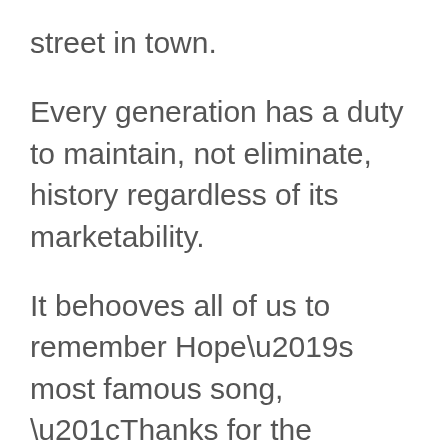street in town.
Every generation has a duty to maintain, not eliminate, history regardless of its marketability.
It behooves all of us to remember Hope’s most famous song, “Thanks for the Memory.”